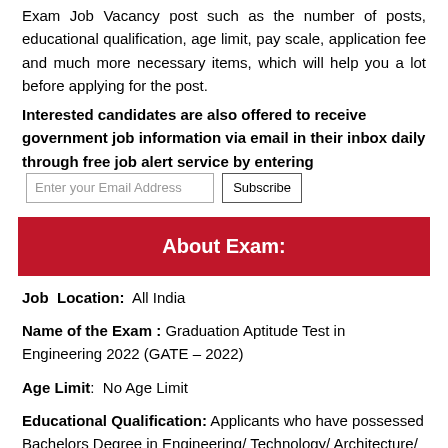Exam Job Vacancy post such as the number of posts, educational qualification, age limit, pay scale, application fee and much more necessary items, which will help you a lot before applying for the post.
Interested candidates are also offered to receive government job information via email in their inbox daily through free job alert service by entering [Enter your Email Address] [Subscribe]
About Exam:
Job Location: All India
Name of the Exam : Graduation Aptitude Test in Engineering 2022 (GATE – 2022)
Age Limit: No Age Limit
Educational Qualification: Applicants who have possessed Bachelors Degree in Engineering/ Technology/ Architecture/ Science/ Commerce/ Arts, MBBS, Master Degree (Arts/Science/ Mathematics/